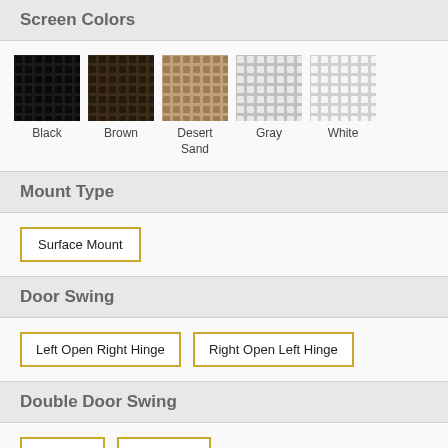Screen Colors
[Figure (illustration): Five screen color swatches displayed in a row: Black, Brown, Desert Sand, Gray, White. Each swatch shows a mesh/screen texture pattern with a color label below.]
Mount Type
Surface Mount
Door Swing
Left Open Right Hinge  Right Open Left Hinge
Double Door Swing
Left Active  Right Active